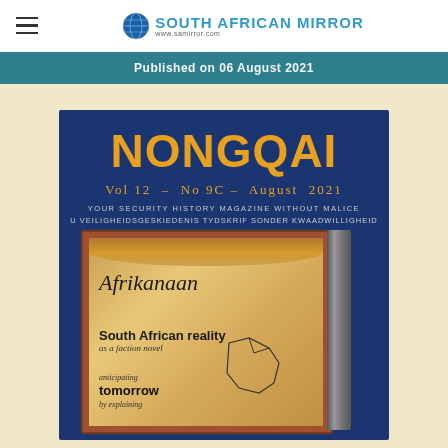SOUTH AFRICAN MIRROR www.samirror.com
Published on 06 August 2021
[Figure (illustration): NONGQAI magazine cover, Vol 12 No 9C August 2021, showing a book titled 'Afrikanaan - South African reality as a faction novel, anticipating tomorrow by explaining' with a parchment background and map outline design]